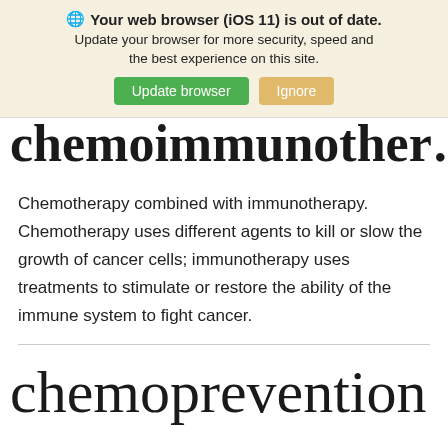Your web browser (iOS 11) is out of date. Update your browser for more security, speed and the best experience on this site. Update browser | Ignore
chemoimmunother…
Chemotherapy combined with immunotherapy. Chemotherapy uses different agents to kill or slow the growth of cancer cells; immunotherapy uses treatments to stimulate or restore the ability of the immune system to fight cancer.
chemoprevention…